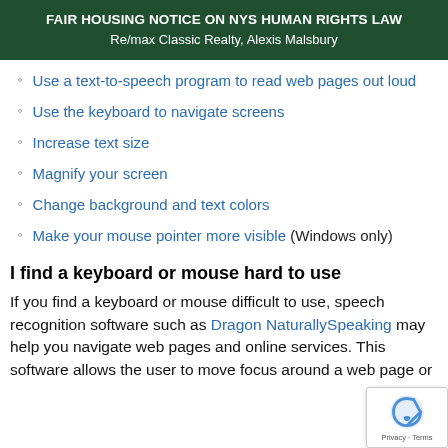FAIR HOUSING NOTICE ON NYS HUMAN RIGHTS LAW
Re/max Classic Realty, Alexis Malsbury
Use a text-to-speech program to read web pages out loud
Use the keyboard to navigate screens
Increase text size
Magnify your screen
Change background and text colors
Make your mouse pointer more visible (Windows only)
I find a keyboard or mouse hard to use
If you find a keyboard or mouse difficult to use, speech recognition software such as Dragon NaturallySpeaking may help you navigate web pages and online services. This software allows the user to move focus around a web page or